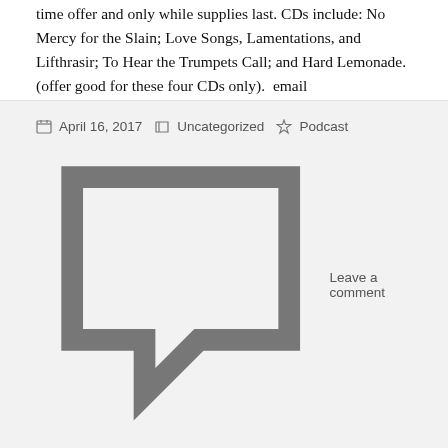time offer and only while supplies last. CDs include: No Mercy for the Slain; Love Songs, Lamentations, and Lifthrasir; To Hear the Trumpets Call; and Hard Lemonade. (offer good for these four CDs only).  email giftsofthewyrd@gmail.com.
SHARE THIS:
[Figure (other): Twitter and Facebook social share icon buttons (blue circles with white bird and 'f' logos)]
Loading...
April 16, 2017   Uncategorized   Podcast
Leave a comment